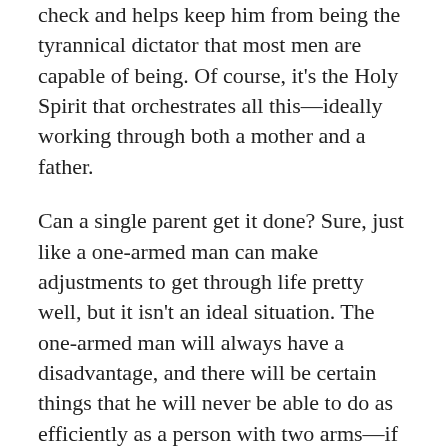check and helps keep him from being the tyrannical dictator that most men are capable of being. Of course, it's the Holy Spirit that orchestrates all this—ideally working through both a mother and a father.
Can a single parent get it done? Sure, just like a one-armed man can make adjustments to get through life pretty well, but it isn't an ideal situation. The one-armed man will always have a disadvantage, and there will be certain things that he will never be able to do as efficiently as a person with two arms—if he can do them at all.
So, can women and moms be heroes? Absolutely! We will be interviewing one today. There is just something about the heroics that only men and fathers can bring to God's ecosystem that their